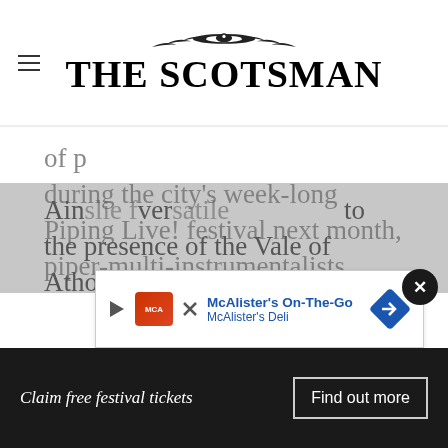THE SCOTSMAN
during the city's week-long Piping Live! festival next month, piper-multi-instrumentalists Ross Ainslie and Ali Hutton will be launching their new album, and doubtless recalling their early piping days together in the Vale of Atholl Pipe Band and the indelible influence of their mentor, the late, great Gordon Duncan.
Ainslie... versatile... to the presence of the Vale of Atholl band, which
[Figure (other): McAlister's On-The-Go advertisement banner for McAlister's Deli]
Claim free festival tickets
Find out more